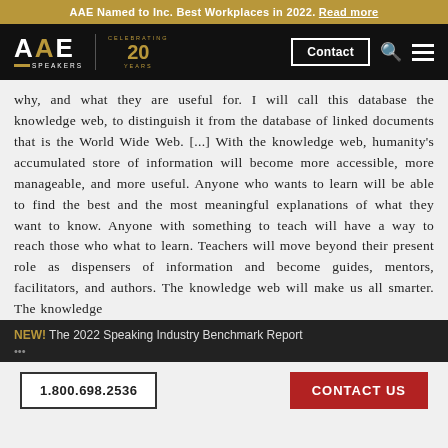AAE Named to Inc. Best Workplaces in 2022. Read more
[Figure (logo): AAE Speakers logo with 'Celebrating 20 Years' badge and navigation bar with Contact button, search icon, and menu icon on black background]
why, and what they are useful for. I will call this database the knowledge web, to distinguish it from the database of linked documents that is the World Wide Web. [...] With the knowledge web, humanity's accumulated store of information will become more accessible, more manageable, and more useful. Anyone who wants to learn will be able to find the best and the most meaningful explanations of what they want to know. Anyone with something to teach will have a way to reach those who what to learn. Teachers will move beyond their present role as dispensers of information and become guides, mentors, facilitators, and authors. The knowledge web will make us all smarter. The knowledge
NEW! The 2022 Speaking Industry Benchmark Report
1.800.698.2536   CONTACT US